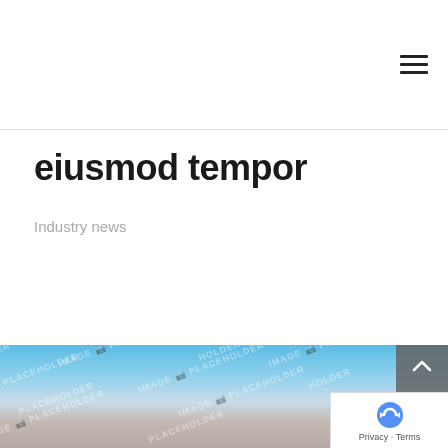[hamburger menu icon]
eiusmod tempor
Industry news
[Figure (photo): Full-width image placeholder showing a gradient sky scene from blue at top to muted earth tones at bottom, with repeated 'IMAGE PLACEHOLDER' watermark text overlaid diagonally across the entire image. A scroll-to-top button and a reCAPTCHA widget are overlaid in the bottom-right corner.]